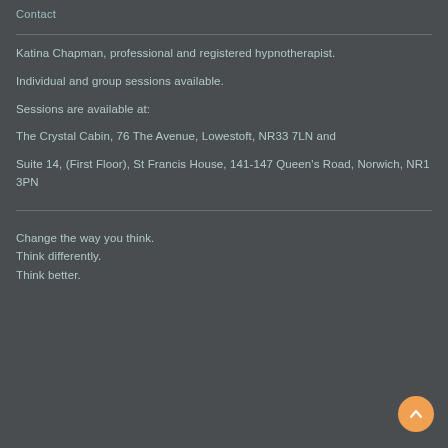Contact
Katina Chapman, professional and registered hypnotherapist.
Individual and group sessions available.
Sessions are available at:
The Crystal Cabin, 76 The Avenue, Lowestoft, NR33 7LN and
Suite 14, (First Floor), St Francis House, 141-147 Queen's Road, Norwich, NR1 3PN
Change the way you think.
Think differently.
Think better.